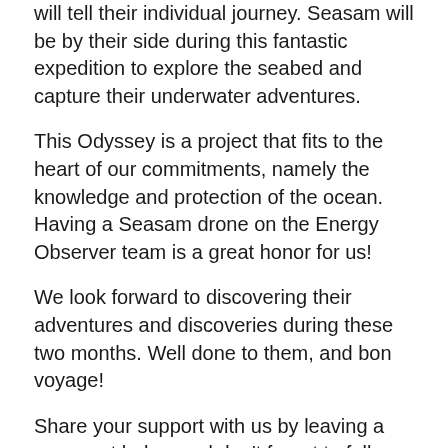will tell their individual journey. Seasam will be by their side during this fantastic expedition to explore the seabed and capture their underwater adventures.
This Odyssey is a project that fits to the heart of our commitments, namely the knowledge and protection of the ocean. Having a Seasam drone on the Energy Observer team is a great honor for us!
We look forward to discovering their adventures and discoveries during these two months. Well done to them, and bon voyage!
Share your support with us by leaving a comment below and don't forget to follow their journey on social networks to not miss anything of their adventures:
LinkedIn :
https://www.linkedin.com/company/energyobs...